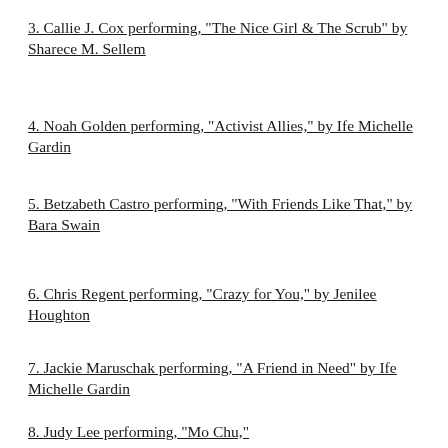3. Callie J. Cox performing, "The Nice Girl & The Scrub" by Sharece M. Sellem
4. Noah Golden performing, "Activist Allies," by Ife Michelle Gardin
5. Betzabeth Castro performing, "With Friends Like That," by Bara Swain
6. Chris Regent performing, "Crazy for You," by Jenilee Houghton
7. Jackie Maruschak performing, "A Friend in Need" by Ife Michelle Gardin
8. Judy Lee performing, "Mo Chu," by ...